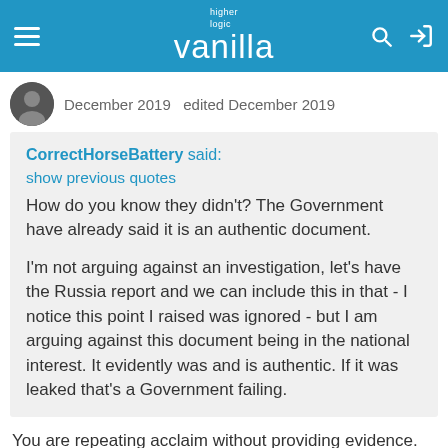higher logic vanilla
December 2019   edited December 2019
CorrectHorseBattery said:
show previous quotes
How do you know they didn't? The Government have already said it is an authentic document.

I'm not arguing against an investigation, let's have the Russia report and we can include this in that - I notice this point I raised was ignored - but I am arguing against this document being in the national interest. It evidently was and is authentic. If it was leaked that's a Government failing.
You are repeating acclaim without providing evidence. When did the Government confirm it was an unaltered copy of the document in question?